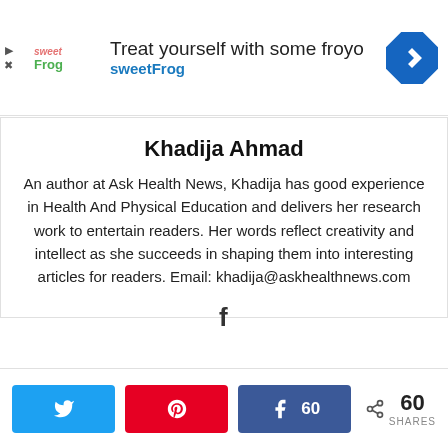[Figure (screenshot): Advertisement banner for sweetFrog frozen yogurt: logo on left, headline 'Treat yourself with some froyo', subtext 'sweetFrog', navigation icon on right]
Khadija Ahmad
An author at Ask Health News, Khadija has good experience in Health And Physical Education and delivers her research work to entertain readers. Her words reflect creativity and intellect as she succeeds in shaping them into interesting articles for readers. Email: khadija@askhealthnews.com
[Figure (other): Facebook social icon (f)]
[Figure (infographic): Social share buttons: Twitter bird icon, Pinterest P icon, Facebook icon with count 60, share icon with 60 SHARES]